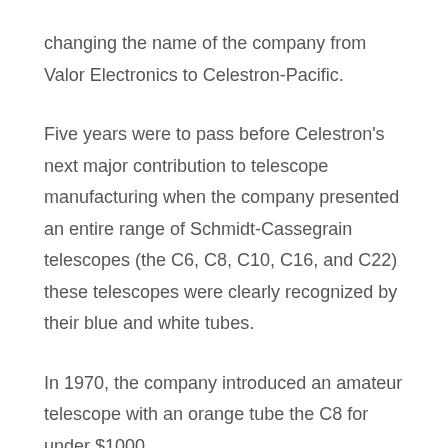changing the name of the company from Valor Electronics to Celestron-Pacific.
Five years were to pass before Celestron's next major contribution to telescope manufacturing when the company presented an entire range of Schmidt-Cassegrain telescopes (the C6, C8, C10, C16, and C22) these telescopes were clearly recognized by their blue and white tubes.
In 1970, the company introduced an amateur telescope with an orange tube the C8 for under $1000.